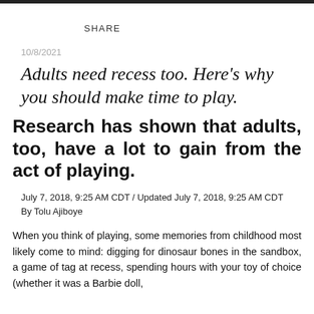SHARE
10/8/2021
Adults need recess too. Here's why you should make time to play.
Research has shown that adults, too, have a lot to gain from the act of playing.
July 7, 2018, 9:25 AM CDT / Updated July 7, 2018, 9:25 AM CDT
By Tolu Ajiboye
When you think of playing, some memories from childhood most likely come to mind: digging for dinosaur bones in the sandbox, a game of tag at recess, spending hours with your toy of choice (whether it was a Barbie doll,